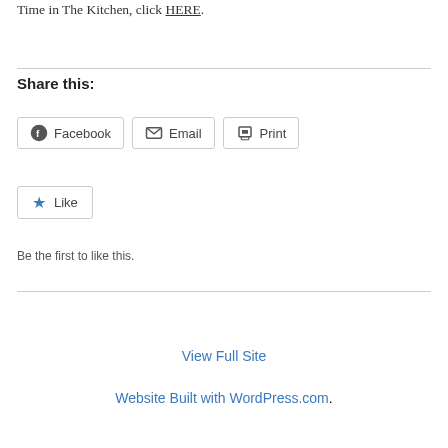Time in The Kitchen, click HERE.
Share this:
[Figure (other): Social share buttons: Facebook, Email, Print]
[Figure (other): Like button with blue star]
Be the first to like this.
View Full Site
Website Built with WordPress.com.